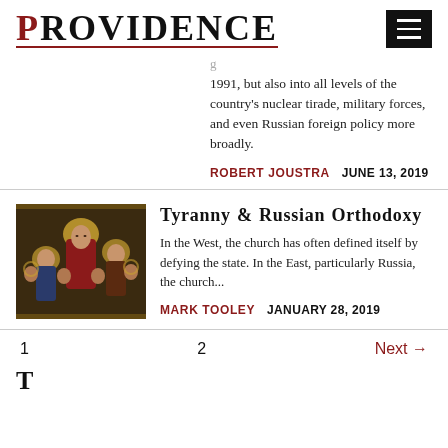PROVIDENCE
1991, but also into all levels of the country's nuclear tirade, military forces, and even Russian foreign policy more broadly.
ROBERT JOUSTRA   JUNE 13, 2019
[Figure (photo): Religious icon painting showing multiple figures including saints with halos, in Byzantine style]
Tyranny & Russian Orthodoxy
In the West, the church has often defined itself by defying the state. In the East, particularly Russia, the church...
MARK TOOLEY   JANUARY 28, 2019
1   2   Next →
T